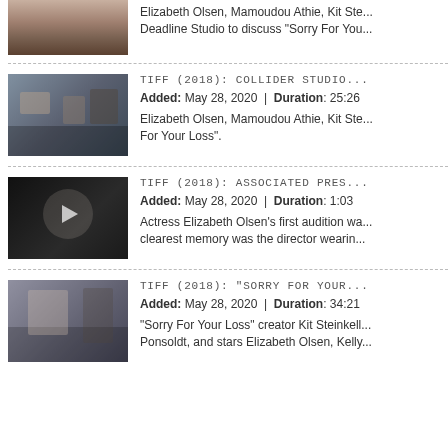[Figure (photo): Partial view of top item thumbnail showing people]
Elizabeth Olsen, Mamoudou Athie, Kit Ste... Deadline Studio to discuss "Sorry For You...
[Figure (photo): TIFF 2018 Collider Studio interview thumbnail with three people]
TIFF (2018): COLLIDER STUDIO...
Added: May 28, 2020  |  Duration: 25:26
Elizabeth Olsen, Mamoudou Athie, Kit Ste... For Your Loss".
[Figure (photo): TIFF 2018 Associated Press video thumbnail with Elizabeth Olsen on dark background with play button]
TIFF (2018): ASSOCIATED PRES...
Added: May 28, 2020  |  Duration: 1:03
Actress Elizabeth Olsen's first audition wa... clearest memory was the director wearin...
[Figure (photo): TIFF 2018 Sorry For Your Loss event thumbnail with Elizabeth Olsen]
TIFF (2018): "SORRY FOR YOUR...
Added: May 28, 2020  |  Duration: 34:21
"Sorry For Your Loss" creator Kit Steinkell... Ponsoldt, and stars Elizabeth Olsen, Kelly...